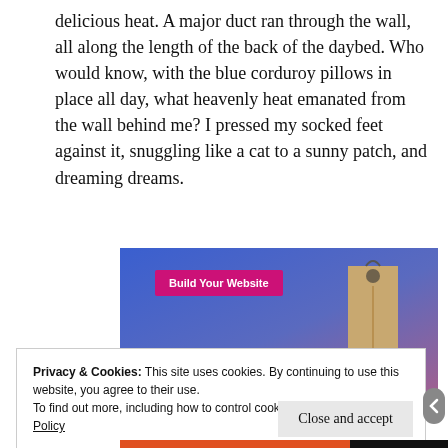delicious heat. A major duct ran through the wall, all along the length of the back of the daybed. Who would know, with the blue corduroy pillows in place all day, what heavenly heat emanated from the wall behind me? I pressed my socked feet against it, snuggling like a cat to a sunny patch, and dreaming dreams.
[Figure (illustration): Website advertisement banner with blue-to-purple gradient background, a pink 'Build Your Website' button on the left, and a tan/beige price tag graphic on the right.]
Privacy & Cookies: This site uses cookies. By continuing to use this website, you agree to their use.
To find out more, including how to control cookies, see here: Cookie Policy